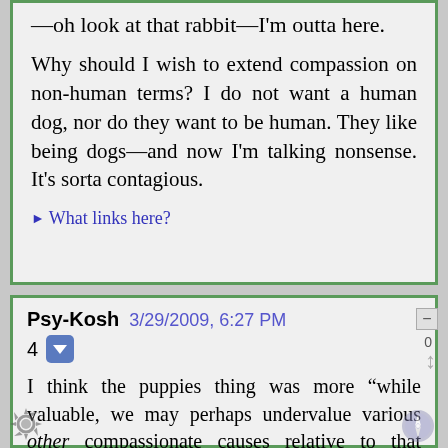—oh look at that rabbit—I'm outta here.
Why should I wish to extend compassion on non-human terms? I do not want a human dog, nor do they want to be human. They like being dogs—and now I'm talking nonsense. It's sorta contagious.
▶ What links here?
Psy-Kosh   3/29/2009, 6:27 PM
4
I think the puppies thing was more "while valuable, we may perhaps undervalue various other compassionate causes relative to that specific one due to the 'awwwww, puppies' effect, which we